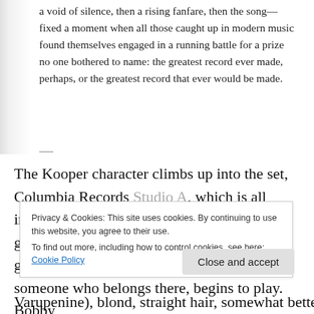a void of silence, then a rising fanfare, then the song—fixed a moment when all those caught up in modern music found themselves engaged in a running battle for a prize no one bothered to name: the greatest record ever made, perhaps, or the greatest record that ever would be made.
The Kooper character climbs up into the set, Columbia Records Studio A, which is all instruments and mic stands. He's carrying his guitar in a bag, sits on a chair, pulls out his guitar, puts on shades, affects the air of someone who belongs there, begins to play. Bobby
Privacy & Cookies: This site uses cookies. By continuing to use this website, you agree to their use. To find out more, including how to control cookies, see here: Cookie Policy
Close and accept
Varupenine), blond, straight hair, somewhat better than